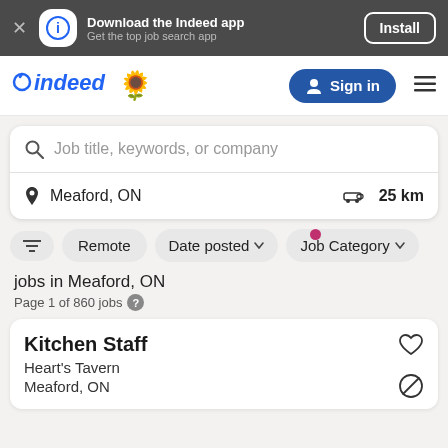Download the Indeed app — Get the top job search app — Install
[Figure (logo): Indeed logo with sunflower emoji and Sign in button]
Job title, keywords, or company
Meaford, ON   25 km
Remote   Date posted ▾   Job Category ▾
jobs in Meaford, ON
Page 1 of 860 jobs
Kitchen Staff
Heart's Tavern
Meaford, ON